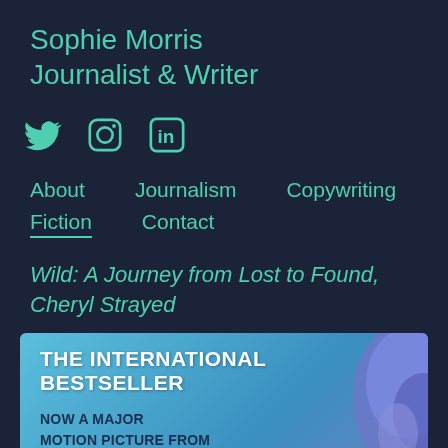Sophie Morris
Journalist & Writer
[Figure (other): Social media icons: Twitter bird, Instagram camera, LinkedIn 'in' logo]
About   Journalism   Copywriting
Fiction   Contact
Wild: A Journey from Lost to Found, Cheryl Strayed
[Figure (photo): Book cover for Wild: A Journey from Lost to Found by Cheryl Strayed. Light blue background with text 'THE INTERNATIONAL BESTSELLER' and 'NOW A MAJOR MOTION PICTURE FROM FOX SEARCHLIGHT PICTURES'. A purple/blue backpack is partially visible on the right side.]